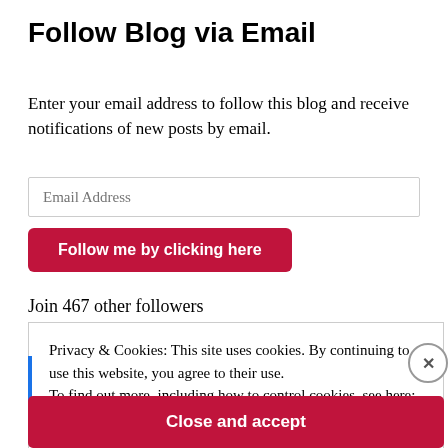Follow Blog via Email
Enter your email address to follow this blog and receive notifications of new posts by email.
Email Address
Follow me by clicking here
Join 467 other followers
Privacy & Cookies: This site uses cookies. By continuing to use this website, you agree to their use. To find out more, including how to control cookies, see here: Cookie Policy
Close and accept